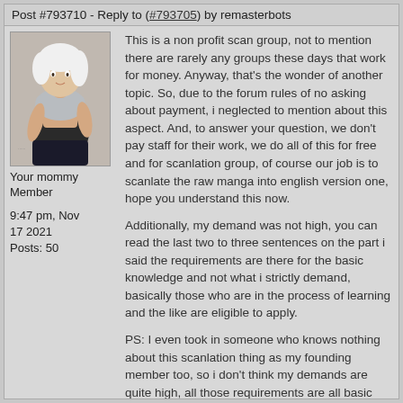Post #793710 - Reply to (#793705) by remasterbots
[Figure (illustration): Avatar image of a woman with white/blonde hair in a silver top and dark pants, posing with one hand on hip]
Your mommy
Member
9:47 pm, Nov 17 2021
Posts: 50
This is a non profit scan group, not to mention there are rarely any groups these days that work for money. Anyway, that's the wonder of another topic. So, due to the forum rules of no asking about payment, i neglected to mention about this aspect. And, to answer your question, we don't pay staff for their work, we do all of this for free and for scanlation group, of course our job is to scanlate the raw manga into english version one, hope you understand this now.
Additionally, my demand was not high, you can read the last two to three sentences on the part i said the requirements are there for the basic knowledge and not what i strictly demand, basically those who are in the process of learning and the like are eligible to apply.
PS: I even took in someone who knows nothing about this scanlation thing as my founding member too, so i don't think my demands are quite high, all those requirements are all basic stuff i took from the forum rules itself. Hope this solve your wonder, if not feel free to hit my dm whether on this platform or on discord!